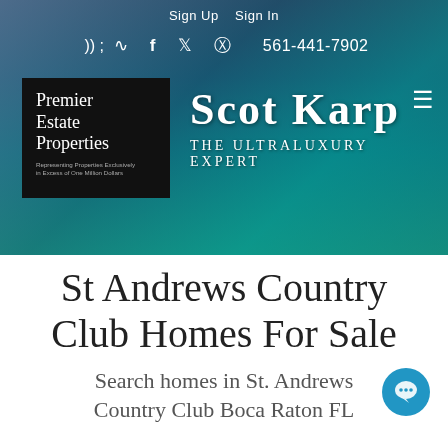Sign Up   Sign In
RSS  Facebook  Twitter  Pinterest  561-441-7902
[Figure (photo): Aerial coastal photo of Boca Raton FL waterfront with ocean and buildings, used as website header background]
[Figure (logo): Premier Estate Properties logo — black background with white serif text reading 'Premier Estate Properties' and small tagline 'Representing Properties Exclusively in Excess of One Million Dollars']
Scot Karp — The Ultraluxury Expert
St Andrews Country Club Homes For Sale
Search homes in St. Andrews Country Club Boca Raton FL